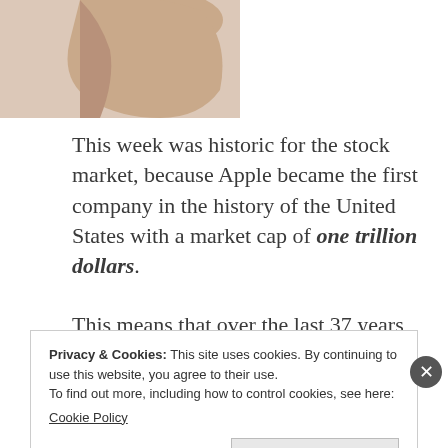[Figure (photo): Cropped image of a hand, only top portion visible, at top left of page]
This week was historic for the stock market, because Apple became the first company in the history of the United States with a market cap of one trillion dollars.
This means that over the last 37 years, Apple has created a tremendous amount of wealth for its shareholders. Were you one of them?
Privacy & Cookies: This site uses cookies. By continuing to use this website, you agree to their use.
To find out more, including how to control cookies, see here:
Cookie Policy
Close and accept
Advertisements